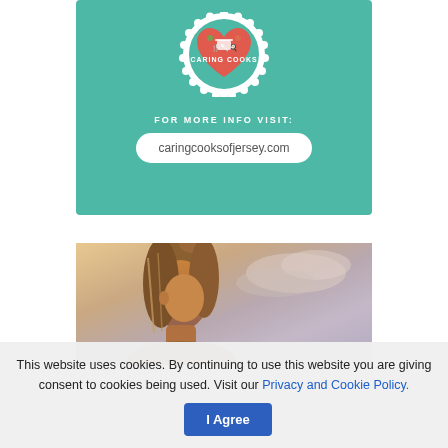[Figure (infographic): Caring Cooks advertisement banner with teal background, heart-shaped badge logo with kitchen utensils, text 'FOR MORE INFO VISIT:' and URL pill showing 'caringcooksofjersey.com']
[Figure (photo): Photo of a woman with blonde hair in a ponytail looking down, against a sky background with warm sunset light]
This website uses cookies. By continuing to use this website you are giving consent to cookies being used. Visit our Privacy and Cookie Policy.